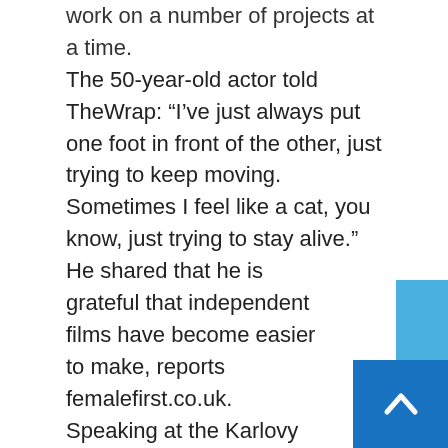work on a number of projects at a time.
The 50-year-old actor told TheWrap: “I’ve just always put one foot in front of the other, just trying to keep moving. Sometimes I feel like a cat, you know, just trying to stay alive.”
He shared that he is grateful that independent films have become easier to make, reports femalefirst.co.uk.
Speaking at the Karlovy Vary Film Festival, where he was honoured with the President’s Award, Hawke said: “One of the things that’s happened in the way the film business has changed is that independent movies take so much less time to make.
“When I was younger, it’d be a big deal if you made two movies in a year, but that was because most movies took about four of five months to make, you know. We shot